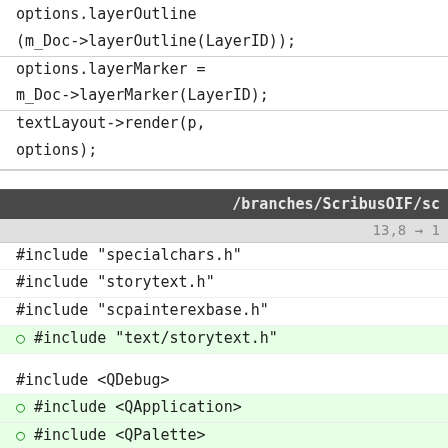options.layerOutline = (m_Doc->layerOutline(LayerID));
options.layerMarker = m_Doc->layerMarker(LayerID);
textLayout->render(p, options);
/branches/ScribusOIF/sc
13,8 → 1
#include "specialchars.h"
#include "storytext.h"
#include "scpainterexbase.h"
#include "text/storytext.h"
#include <QDebug>
#include <QApplication>
#include <QPalette>
BoxGroup::BoxGroup(BoxType type):
88,8 → 9
for (int i=0; i < m_boxes.cou
{
Box* b = m_boxes[i]...